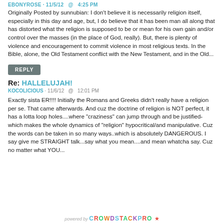EBONYROSE · 11/5/12  @  4:25 PM
Originally Posted by sunnubian: I don't believe it is necessarily religion itself, especially in this day and age, but, I do believe that it has been man all along that has distorted what the religion is supposed to be or mean for his own gain and/or control over the masses (in the place of God, really). But, there is plenty of violence and encouragement to commit violence in most religious texts. In the Bible, alone, the Old Testament conflict with the New Testament, and in the Old...
REPLY
Re: HALLELUJAH!
KOCOLICIOUS · 11/6/12  @  12:01 PM
Exactly sista ER!!!! Initially the Romans and Greeks didn't really have a religion per se. That came afterwards. And cuz the doctrine of religion is NOT perfect, it has a lotta loop holes....where "craziness" can jump through and be justified-which makes the whole dynamics of "religion" hypocritical/and manipulative. Cuz the words can be taken in so many ways..which is absolutely DANGEROUS. I say give me STRAIGHT talk...say what you mean....and mean whatcha say. Cuz no matter what YOU...
powered by CROWDSTACKPRO